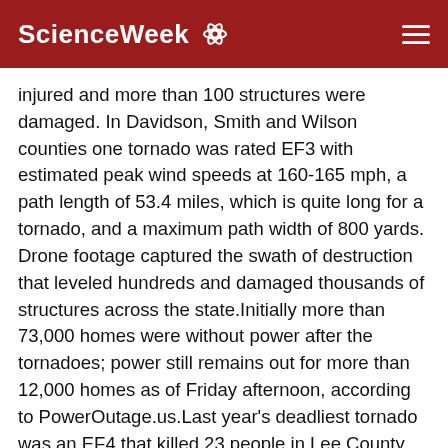ScienceWeek
injured and more than 100 structures were damaged. In Davidson, Smith and Wilson counties one tornado was rated EF3 with estimated peak wind speeds at 160-165 mph, a path length of 53.4 miles, which is quite long for a tornado, and a maximum path width of 800 yards. Drone footage captured the swath of destruction that leveled hundreds and damaged thousands of structures across the state.Initially more than 73,000 homes were without power after the tornadoes; power still remains out for more than 12,000 homes as of Friday afternoon, according to PowerOutage.us.Last year's deadliest tornado was an EF4 that killed 23 people in Lee County, Alabama, coincidentally also on March 3. Tornadoes and their destruction have killed a total of 32 people in the U.S. so far this year, counting the 24 in Tennessee; the total for all of 2019 was 41. Tornadoes cause an average of 80 U.S. fatalities annually. CLICK HERE FOR THE FREE